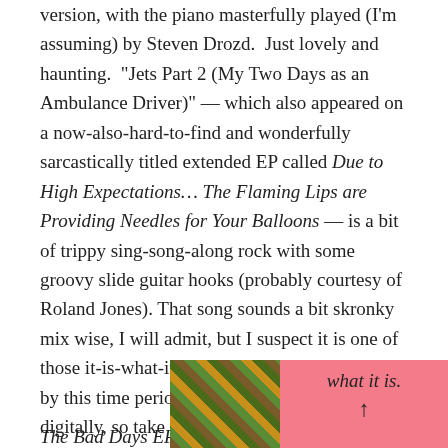version, with the piano masterfully played (I'm assuming) by Steven Drozd.  Just lovely and haunting.  "Jets Part 2 (My Two Days as an Ambulance Driver)" — which also appeared on a now-also-hard-to-find and wonderfully sarcastically titled extended EP called Due to High Expectations... The Flaming Lips are Providing Needles for Your Balloons — is a bit of trippy sing-song-along rock with some groovy slide guitar hooks (probably courtesy of Roland Jones). That song sounds a bit skronky mix wise, I will admit, but I suspect it is one of those it-is-what-it-is things … I mean, face it, by this time period most bands were recording digitally, so take it with a bit of lo-fi acceptance and just enjoy the tune for what it is.
The Bad Days EP